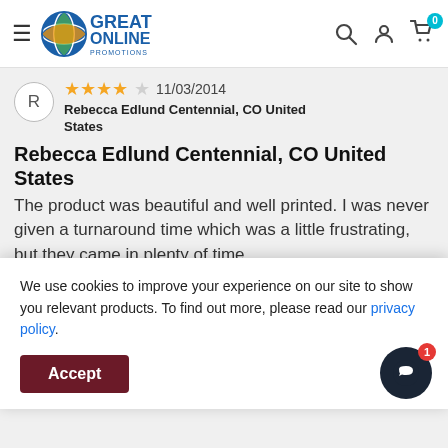[Figure (logo): Great Online Promotions logo with hamburger menu, search, account and cart icons in header]
R
★★★★☆ 11/03/2014
Rebecca Edlund Centennial, CO United States
Rebecca Edlund Centennial, CO United States
The product was beautiful and well printed. I was never given a turnaround time which was a little frustrating, but they came in plenty of time.
★★★★★ 09/15/2014
We use cookies to improve your experience on our site to show you relevant products. To find out more, please read our privacy policy.
Accept
throughought the process. We are very happy with our